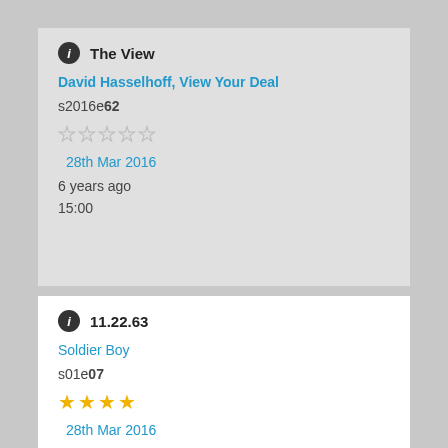The View
David Hasselhoff, View Your Deal
s2016e62
[Figure (other): 5 empty star rating icons]
28th Mar 2016
6 years ago
15:00
11.22.63
Soldier Boy
s01e07
[Figure (other): 4 filled gold star rating icons]
28th Mar 2016
6 years ago
16:00